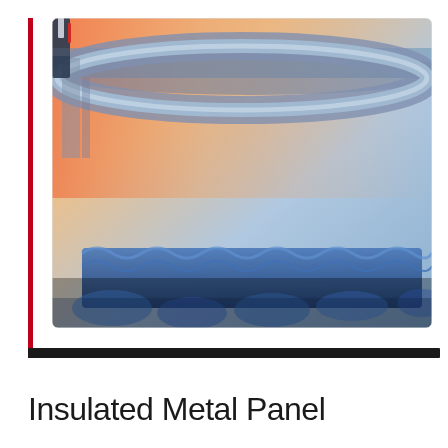[Figure (photo): Industrial machinery photo showing a row of mechanical components — likely bottling or assembly line equipment with metallic pistons, actuators, and blue bases arranged in a curved line. The background shows an industrial facility with pipes and warm orange-tinted lighting at the top, blue-toned machinery in the foreground.]
Insulated Metal Panel